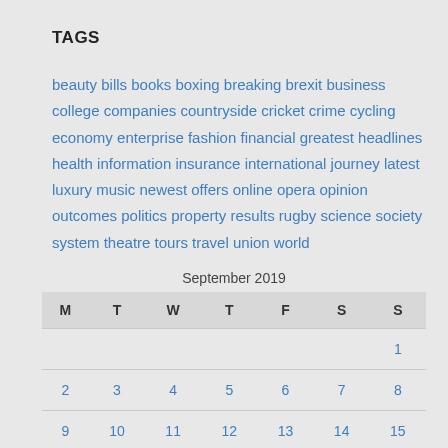TAGS
beauty bills books boxing breaking brexit business college companies countryside cricket crime cycling economy enterprise fashion financial greatest headlines health information insurance international journey latest luxury music newest offers online opera opinion outcomes politics property results rugby science society system theatre tours travel union world
September 2019
| M | T | W | T | F | S | S |
| --- | --- | --- | --- | --- | --- | --- |
|  |  |  |  |  |  | 1 |
| 2 | 3 | 4 | 5 | 6 | 7 | 8 |
| 9 | 10 | 11 | 12 | 13 | 14 | 15 |